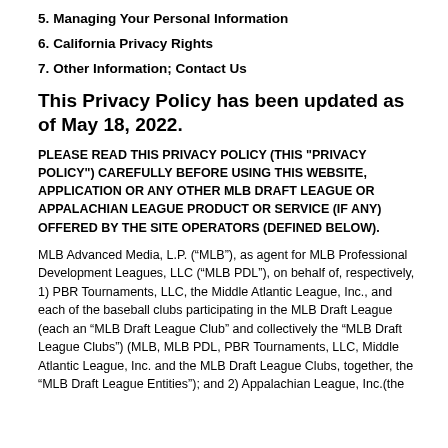5. Managing Your Personal Information
6. California Privacy Rights
7. Other Information; Contact Us
This Privacy Policy has been updated as of May 18, 2022.
PLEASE READ THIS PRIVACY POLICY (THIS "PRIVACY POLICY") CAREFULLY BEFORE USING THIS WEBSITE, APPLICATION OR ANY OTHER MLB DRAFT LEAGUE OR APPALACHIAN LEAGUE PRODUCT OR SERVICE (IF ANY) OFFERED BY THE SITE OPERATORS (DEFINED BELOW).
MLB Advanced Media, L.P. (“MLB”), as agent for MLB Professional Development Leagues, LLC (“MLB PDL”), on behalf of, respectively, 1) PBR Tournaments, LLC, the Middle Atlantic League, Inc., and each of the baseball clubs participating in the MLB Draft League (each an “MLB Draft League Club” and collectively the “MLB Draft League Clubs”) (MLB, MLB PDL, PBR Tournaments, LLC, Middle Atlantic League, Inc. and the MLB Draft League Clubs, together, the “MLB Draft League Entities”); and 2) Appalachian League, Inc.(the